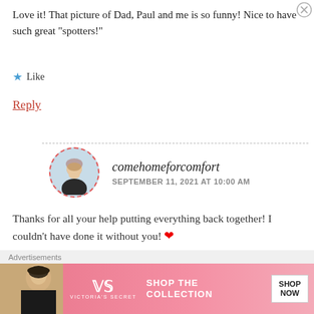Love it! That picture of Dad, Paul and me is so funny! Nice to have such great “spotters!”
★ Like
Reply
comehomeforcomfort
SEPTEMBER 11, 2021 AT 10:00 AM
Thanks for all your help putting everything back together! I couldn’t have done it without you! ❤
Advertisements
[Figure (photo): Victoria's Secret advertisement banner with model and pink background, SHOP THE COLLECTION text, and SHOP NOW button]